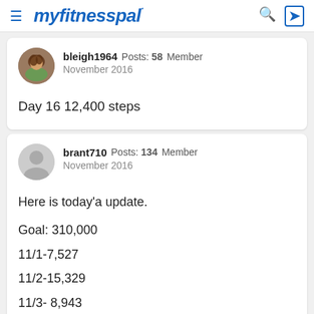myfitnesspal
bleigh1964  Posts: 58  Member
November 2016
Day 16 12,400 steps
brant710  Posts: 134  Member
November 2016
Here is today'a update.

Goal: 310,000
11/1-7,527
11/2-15,329
11/3- 8,943
11/4-15,768